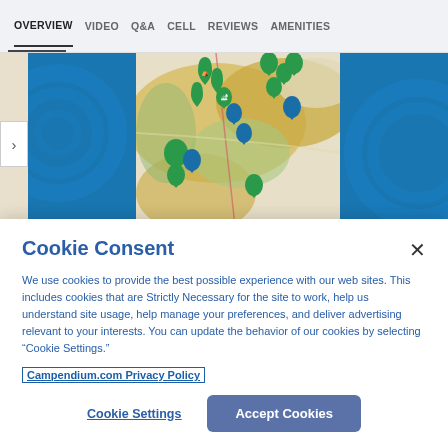OVERVIEW  VIDEO  Q&A  CELL  REVIEWS  AMENITIES
[Figure (map): Interactive map showing campground locations with green and blue pin markers on a terrain map with yellow/green areas. Blue decorative panels on left and right sides.]
Cookie Consent
We use cookies to provide the best possible experience with our web sites. This includes cookies that are Strictly Necessary for the site to work, help us understand site usage, help manage your preferences, and deliver advertising relevant to your interests. You can update the behavior of our cookies by selecting “Cookie Settings.”
Campendium.com Privacy Policy
Cookie Settings
Accept Cookies